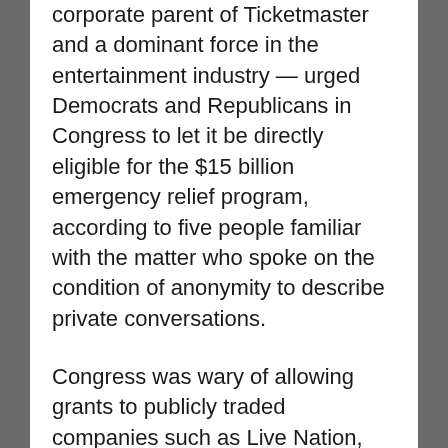corporate parent of Ticketmaster and a dominant force in the entertainment industry — urged Democrats and Republicans in Congress to let it be directly eligible for the $15 billion emergency relief program, according to five people familiar with the matter who spoke on the condition of anonymity to describe private conversations.
Congress was wary of allowing grants to publicly traded companies such as Live Nation, worrying that the funds could be used to bail out stock market investors. In the end, lawmakers wrote the law to exclude large companies like Live Nation,